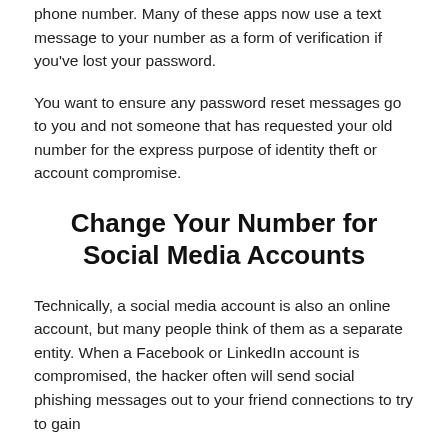phone number. Many of these apps now use a text message to your number as a form of verification if you've lost your password.
You want to ensure any password reset messages go to you and not someone that has requested your old number for the express purpose of identity theft or account compromise.
Change Your Number for Social Media Accounts
Technically, a social media account is also an online account, but many people think of them as a separate entity. When a Facebook or LinkedIn account is compromised, the hacker often will send social phishing messages out to your friend connections to try to gain